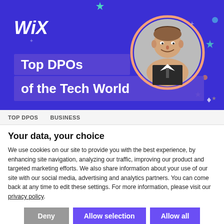[Figure (illustration): Wix promotional banner with purple background showing 'Top DPOs of the Tech World' headline with a circular portrait photo of a man in a suit, decorative stars and sparkle elements]
TOP DPOS   BUSINESS
Your data, your choice
We use cookies on our site to provide you with the best experience, by enhancing site navigation, analyzing our traffic, improving our product and targeted marketing efforts. We also share information about your use of our site with our social media, advertising and analytics partners. You can come back at any time to edit these settings. For more information, please visit our privacy policy.
Deny | Allow selection | Allow all
Necessary  Preferences  Analytics  Marketing  Manage cookies